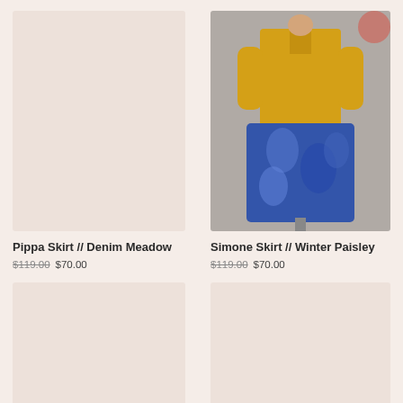[Figure (photo): Product image placeholder for Pippa Skirt in Denim Meadow — light pink background, no image visible]
Pippa Skirt // Denim Meadow
$119.00 $70.00
[Figure (photo): Photo of mannequin wearing a yellow short-sleeve tie-neck blouse and a blue paisley midi skirt against a grey brick wall background. A pink circle badge is visible in the top right corner.]
Simone Skirt // Winter Paisley
$119.00 $70.00
[Figure (photo): Bottom-left product image — light beige/pink placeholder, partially visible]
[Figure (photo): Bottom-right product image — light beige/pink placeholder, partially visible]